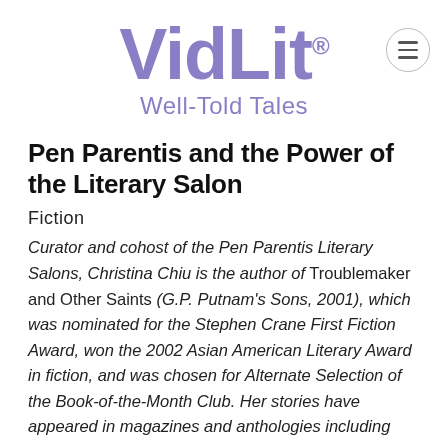VidLit® Well-Told Tales
Pen Parentis and the Power of the Literary Salon
Fiction
Curator and cohost of the Pen Parentis Literary Salons, Christina Chiu is the author of Troublemaker and Other Saints (G.P. Putnam's Sons, 2001), which was nominated for the Stephen Crane First Fiction Award, won the 2002 Asian American Literary Award in fiction, and was chosen for Alternate Selection of the Book-of-the-Month Club. Her stories have appeared in magazines and anthologies including